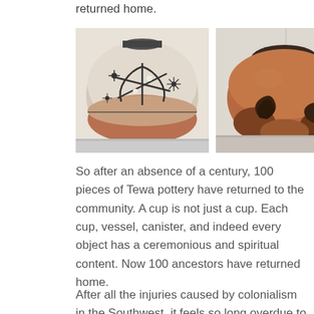returned home.
[Figure (photo): Two Native American Tewa pottery vessels side by side. Left: a round white/cream pot with black geometric and star designs on the upper half and terracotta-colored lower half. Right: a squat terracotta/reddish-brown pot with dark swirl designs on the lower portion and a dark rim opening.]
So after an absence of a century, 100 pieces of Tewa pottery have returned to the community. A cup is not just a cup. Each cup, vessel, canister, and indeed every object has a ceremonious and spiritual content. Now 100 ancestors have returned home.
After all the injuries caused by colonialism in the Southwest, it feels so long overdue to have these